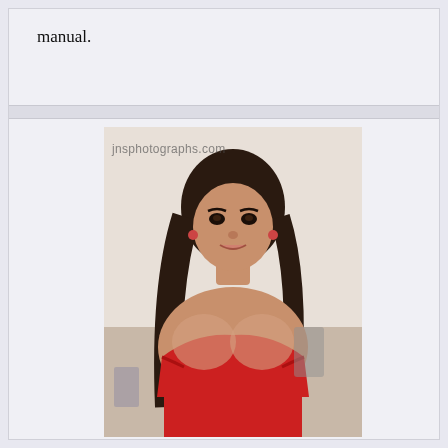manual.
[Figure (photo): Photograph of a woman with long dark hair wearing a red strapless top, watermarked with 'jnsphotographs.com']